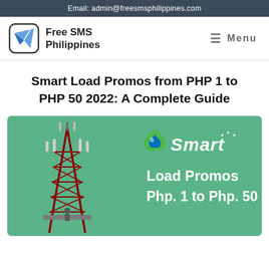Email: admin@freesmsphilippines.com
[Figure (logo): Free SMS Philippines logo with paper airplane icon and site name]
Smart Load Promos from PHP 1 to PHP 50 2022: A Complete Guide
[Figure (infographic): Promotional banner image with green background, cell tower on left, Smart logo and text 'Load Promos Php. 1 to Php. 50' on right]